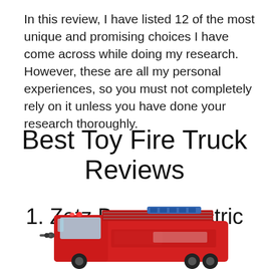In this review, I have listed 12 of the most unique and promising choices I have come across while doing my research. However, these are all my personal experiences, so you must not completely rely on it unless you have done your research thoroughly.
Best Toy Fire Truck Reviews
1. Zetz Brands Electric Fire Truck
[Figure (photo): Photo of a red toy fire truck (Zetz Brands Electric Fire Truck), partially visible at the bottom of the page, showing detailed model with blue and red elements.]